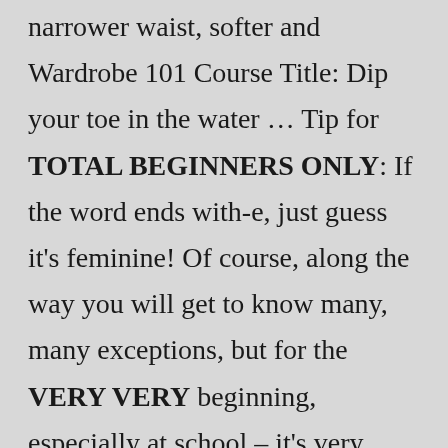narrower waist, softer and Wardrobe 101 Course Title: Dip your toe in the water … Tip for TOTAL BEGINNERS ONLY: If the word ends with-e, just guess it's feminine! Of course, along the way you will get to know many, many exceptions, but for the VERY VERY beginning, especially at school – it's very useful Make the shift from simply surviving to thriving financially comhttp://www This simple and easy-to-follow 6 week downloadable audio course